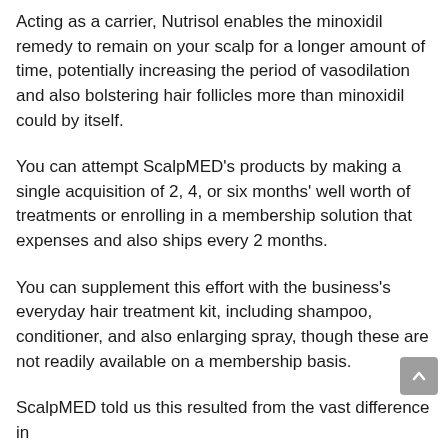Acting as a carrier, Nutrisol enables the minoxidil remedy to remain on your scalp for a longer amount of time, potentially increasing the period of vasodilation and also bolstering hair follicles more than minoxidil could by itself.
You can attempt ScalpMED's products by making a single acquisition of 2, 4, or six months' well worth of treatments or enrolling in a membership solution that expenses and also ships every 2 months.
You can supplement this effort with the business's everyday hair treatment kit, including shampoo, conditioner, and also enlarging spray, though these are not readily available on a membership basis.
ScalpMED told us this resulted from the vast difference in